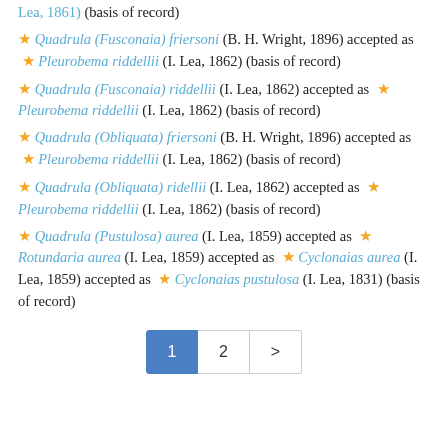Lea, 1861) (basis of record)
★ Quadrula (Fusconaia) friersoni (B. H. Wright, 1896) accepted as ★ Pleurobema riddellii (I. Lea, 1862) (basis of record)
★ Quadrula (Fusconaia) riddellii (I. Lea, 1862) accepted as ★ Pleurobema riddellii (I. Lea, 1862) (basis of record)
★ Quadrula (Obliquata) friersoni (B. H. Wright, 1896) accepted as ★ Pleurobema riddellii (I. Lea, 1862) (basis of record)
★ Quadrula (Obliquata) ridellii (I. Lea, 1862) accepted as ★ Pleurobema riddellii (I. Lea, 1862) (basis of record)
★ Quadrula (Pustulosa) aurea (I. Lea, 1859) accepted as ★ Rotundaria aurea (I. Lea, 1859) accepted as ★ Cyclonaias aurea (I. Lea, 1859) accepted as ★ Cyclonaias pustulosa (I. Lea, 1831) (basis of record)